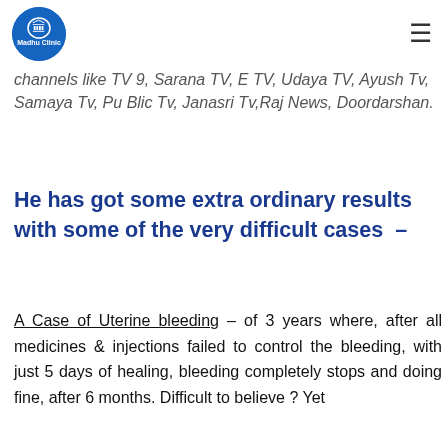Madhu Clinic logo and navigation menu
channels like TV 9, Sarana TV, E TV, Udaya TV, Ayush Tv, Samaya Tv, Pu Blic Tv, Janasri Tv,Raj News, Doordarshan.
He has got some extra ordinary results with some of the very difficult cases –
A Case of Uterine bleeding – of 3 years where, after all medicines & injections failed to control the bleeding, with just 5 days of healing, bleeding completely stops and doing fine, after 6 months. Difficult to believe ? Yet